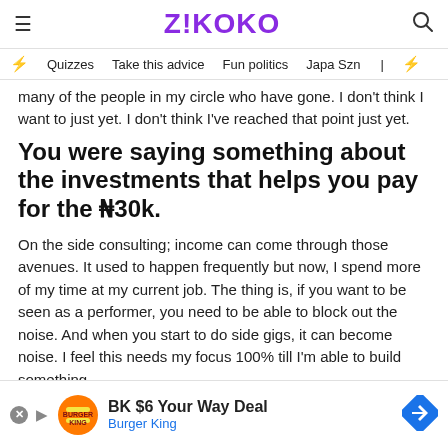ZIKOKO
Quizzes  Take this advice  Fun politics  Japa Szn
many of the people in my circle who have gone. I don't think I want to just yet. I don't think I've reached that point just yet.
You were saying something about the investments that helps you pay for the ₦30k.
On the side consulting; income can come through those avenues. It used to happen frequently but now, I spend more of my time at my current job. The thing is, if you want to be seen as a performer, you need to be able to block out the noise. And when you start to do side gigs, it can become noise. I feel this needs my focus 100% till I'm able to build something.
I feel you.
And there's no urgent request to increase income right now.
How m
[Figure (other): Burger King advertisement banner: BK $6 Your Way Deal]